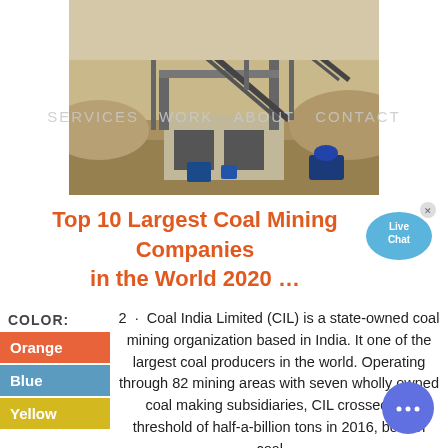[Figure (photo): Mining facility with conveyor belts and industrial structures at a quarry site]
SERVICES   WORK   ABOUT   CONTACT
Top 10 Largest Coal Mining Companies in the World 2020 …
[Figure (illustration): Live Chat bubble icon with text 'Live Chat' and an X close button]
COLOR:
Orange
Blue
Yellow
2  ·  Coal India Limited (CIL) is a state-owned coal mining organization based in India. It one of the largest coal producers in the world. Operating through 82 mining areas with seven wholly owned coal making subsidiaries, CIL crossed the threshold of half-a-billion tons in 2016, both in coal …
[Figure (illustration): Blue circular chat button with three dots]